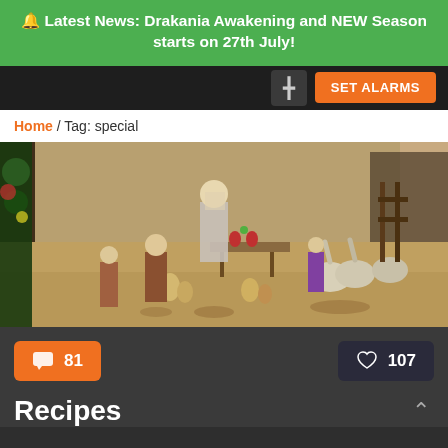🔔 Latest News: Drakania Awakening and NEW Season starts on 27th July!
SET ALARMS
Home / Tag: special
[Figure (screenshot): In-game scene showing characters and ostriches in a market courtyard with stone walls and wooden fencing]
💬 81
♡ 107
Recipes